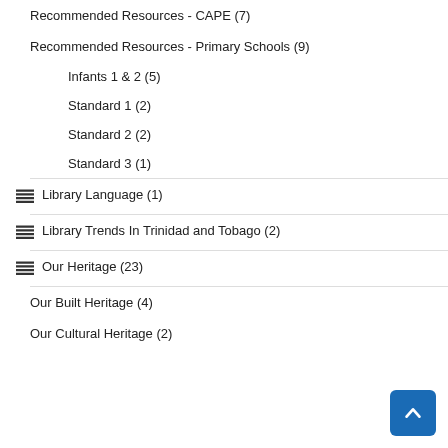Recommended Resources - CAPE (7)
Recommended Resources - Primary Schools (9)
Infants 1 & 2 (5)
Standard 1 (2)
Standard 2 (2)
Standard 3 (1)
Library Language (1)
Library Trends In Trinidad and Tobago (2)
Our Heritage (23)
Our Built Heritage (4)
Our Cultural Heritage (2)